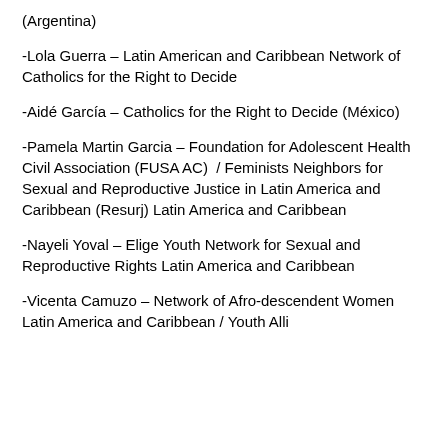(Argentina)
-Lola Guerra – Latin American and Caribbean Network of Catholics for the Right to Decide
-Aidé García – Catholics for the Right to Decide (México)
-Pamela Martin Garcia – Foundation for Adolescent Health Civil Association (FUSA AC)  / Feminists Neighbors for Sexual and Reproductive Justice in Latin America and Caribbean (Resurj) Latin America and Caribbean
-Nayeli Yoval – Elige Youth Network for Sexual and Reproductive Rights Latin America and Caribbean
-Vicenta Camuzo – Network of Afro-descendent Women Latin America and Caribbean / Youth Alli...